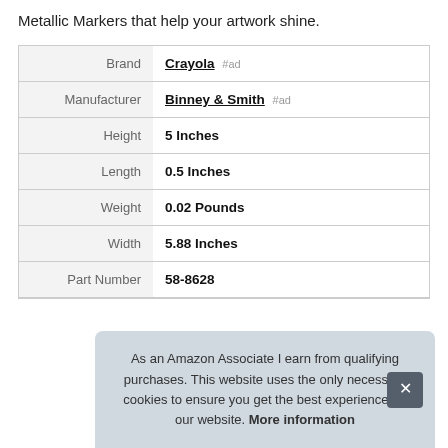Metallic Markers that help your artwork shine.
| Attribute | Value |
| --- | --- |
| Brand | Crayola #ad |
| Manufacturer | Binney & Smith #ad |
| Height | 5 Inches |
| Length | 0.5 Inches |
| Weight | 0.02 Pounds |
| Width | 5.88 Inches |
| Part Number | 58-8628 |
As an Amazon Associate I earn from qualifying purchases. This website uses the only necessary cookies to ensure you get the best experience on our website. More information